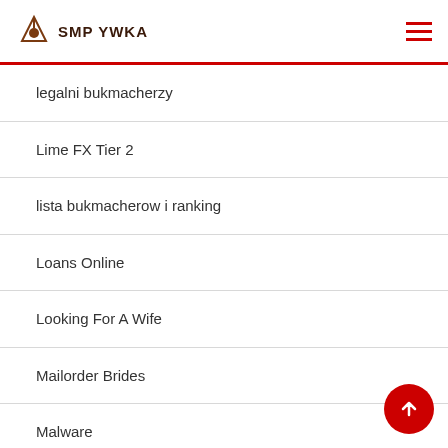SMP YWKA
legalni bukmacherzy
Lime FX Tier 2
lista bukmacherow i ranking
Loans Online
Looking For A Wife
Mailorder Brides
Malware
Marrying A Foreign Wife